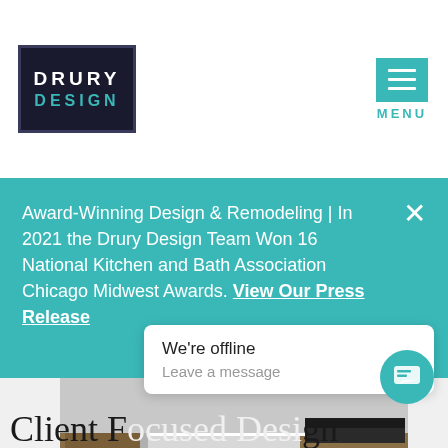[Figure (logo): Drury Design logo — dark navy rectangle with 'DRURY' in white bold letters and 'DESIGN' in teal bold letters below]
[Figure (other): Hamburger menu icon (three horizontal lines) in teal square, with 'MENU' label in teal below]
Award-Winning Design & Remodeling | In 2021 the Drury Design Team Won 16 National Kitchen and Bath Association Chicago Midwest Awards. View Our Press Release
[Figure (photo): Kitchen interior photo showing a white island counter with bar stools and wood flooring]
Client Focused Design
We're offline
Leave a message